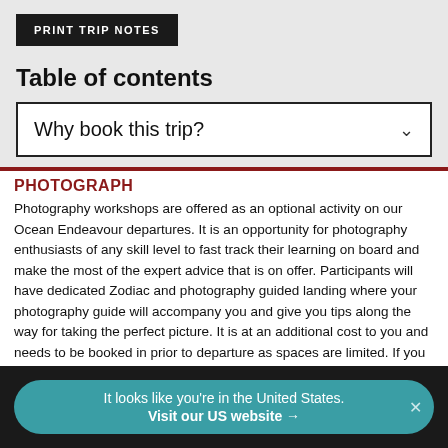PRINT TRIP NOTES
Table of contents
Why book this trip?
PHOTOGRAPH
Photography workshops are offered as an optional activity on our Ocean Endeavour departures. It is an opportunity for photography enthusiasts of any skill level to fast track their learning on board and make the most of the expert advice that is on offer. Participants will have dedicated Zodiac and photography guided landing where your photography guide will accompany you and give you tips along the way for taking the perfect picture. It is at an additional cost to you and needs to be booked in prior to departure as spaces are limited. If you are interested in taking part, please contact the polar sales team for pricing and availability.
It looks like you're in the United States. Visit our US website →